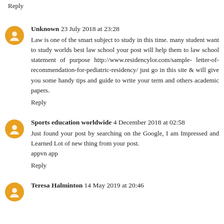Reply
Unknown  23 July 2018 at 23:28
Law is one of the smart subject to study in this time. many student want to study worlds best law school your post will help them to law school statement of purpose http://www.residencylor.com/sample-letter-of-recommendation-for-pediatric-residency/ just go in this site & will give you some handy tips and guide to write your term and others academic papers.
Reply
Sports education worldwide  4 December 2018 at 02:58
Just found your post by searching on the Google, I am Impressed and Learned Lot of new thing from your post.
appvn app
Reply
Teresa Halminton  14 May 2019 at 20:46